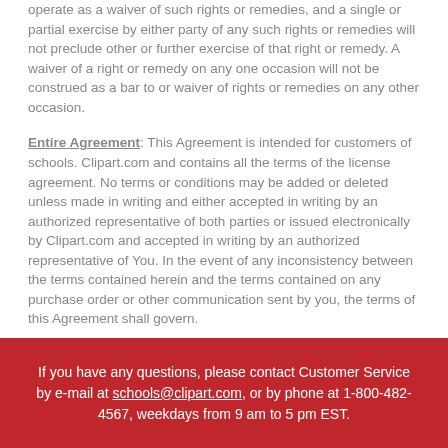operate as a waiver of such rights or remedies, and a single or partial exercise by either party of any such rights or remedies will not preclude other or further exercise of that right or remedy. A waiver of a right or remedy on any one occasion will not be construed as a bar to or waiver of rights or remedies on any other occasion.
Entire Agreement: This Agreement is intended for customers of schools. Clipart.com and contains all the terms of the license agreement. No terms or conditions may be added or deleted unless made in writing and either accepted in writing by an authorized representative of both parties or issued electronically by Clipart.com and accepted in writing by an authorized representative of You. In the event of any inconsistency between the terms contained herein and the terms contained on any purchase order or other communication sent by you, the terms of this Agreement shall govern.
If you have any questions, please contact Customer Service by e-mail at schools@clipart.com, or by phone at 1-800-482-4567, weekdays from 9 am to 5 pm EST.